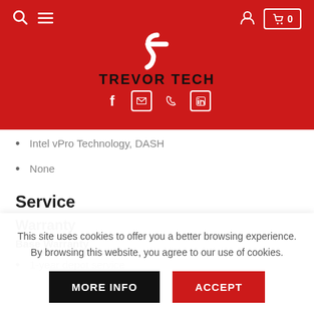TREVOR TECH
Intel vPro Technology, DASH
None
Service
Warranty
Base Warranty
1-year depot service
This site uses cookies to offer you a better browsing experience. By browsing this website, you agree to our use of cookies.